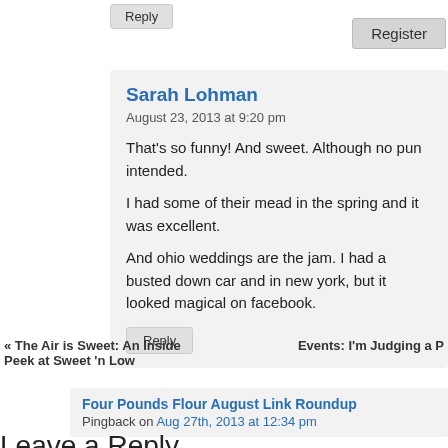Reply
Register
Sarah Lohman
August 23, 2013 at 9:20 pm
That's so funny! And sweet. Although no pun intended.
I had some of their mead in the spring and it was excellent.
And ohio weddings are the jam. I had a busted down car and in new york, but it looked magical on facebook.
Reply
« The Air is Sweet: An Inside Peek at Sweet 'n Low
Events: I'm Judging a P
Four Pounds Flour August Link Roundup
Pingback on Aug 27th, 2013 at 12:34 pm
Leave a Reply